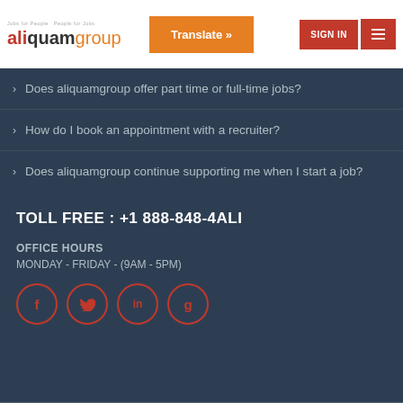[Figure (logo): aliquamgroup logo with tagline 'Jobs for People People for Jobs']
Translate »
SIGN IN
Does aliquamgroup offer part time or full-time jobs?
How do I book an appointment with a recruiter?
Does aliquamgroup continue supporting me when I start a job?
TOLL FREE : +1 888-848-4ALI
OFFICE HOURS
MONDAY - FRIDAY - (9AM - 5PM)
[Figure (infographic): Four social media icons in red circle outlines: Facebook (f), Twitter (bird), LinkedIn (in), Google+ (g)]